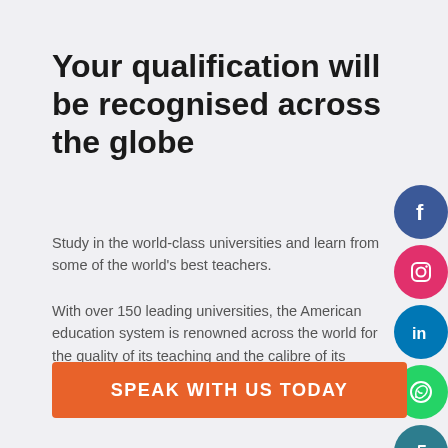Your qualification will be recognised across the globe
Study in the world-class universities and learn from some of the world's best teachers.
With over 150 leading universities, the American education system is renowned across the world for the quality of its teaching and the calibre of its graduates, so you'll be in good company.
[Figure (other): Social media icons column on right side: Facebook, Instagram, LinkedIn, WhatsApp, and a share/referral icon]
SPEAK WITH US TODAY